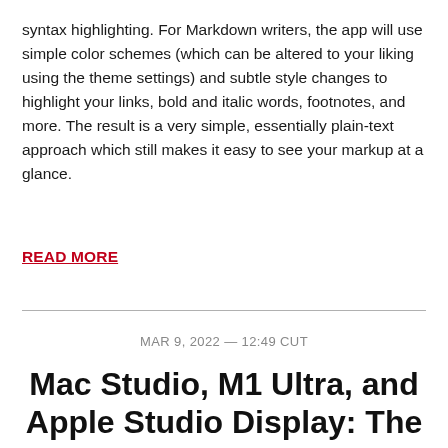syntax highlighting. For Markdown writers, the app will use simple color schemes (which can be altered to your liking using the theme settings) and subtle style changes to highlight your links, bold and italic words, footnotes, and more. The result is a very simple, essentially plain-text approach which still makes it easy to see your markup at a glance.
READ MORE
MAR 9, 2022 — 12:49 CUT
Mac Studio, M1 Ultra, and Apple Studio Display: The Mac Studio Stor...